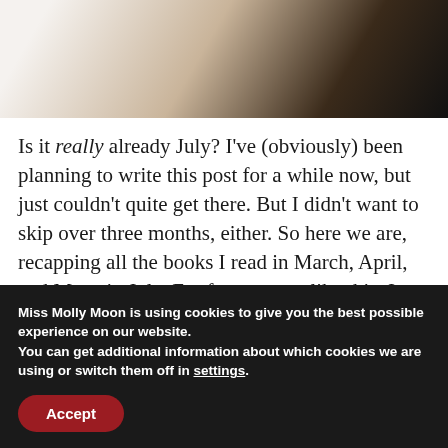[Figure (photo): Partial photo of a book spine area, showing light beige/tan and dark background tones, cropped at top.]
Is it really already July? I've (obviously) been planning to write this post for a while now, but just couldn't quite get there. But I didn't want to skip over three months, either. So here we are, recapping all the books I read in March, April, and May...in July. For future posts like this, I think I'll shift to one reading recap each month. You might remember there were 9 books on my last list, but this one has 22 books on it! You can
Miss Molly Moon is using cookies to give you the best possible experience on our website.
You can get additional information about which cookies we are using or switch them off in settings.
Accept